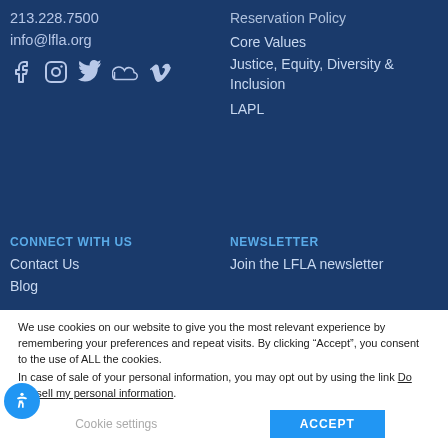213.228.7500
info@lfla.org
[Figure (illustration): Social media icons: Facebook, Instagram, Twitter, SoundCloud, Vimeo]
Reservation Policy
Core Values
Justice, Equity, Diversity & Inclusion
LAPL
CONNECT WITH US
Contact Us
Blog
NEWSLETTER
Join the LFLA newsletter
We use cookies on our website to give you the most relevant experience by remembering your preferences and repeat visits. By clicking “Accept”, you consent to the use of ALL the cookies.
In case of sale of your personal information, you may opt out by using the link Do not sell my personal information.
Cookie settings
ACCEPT